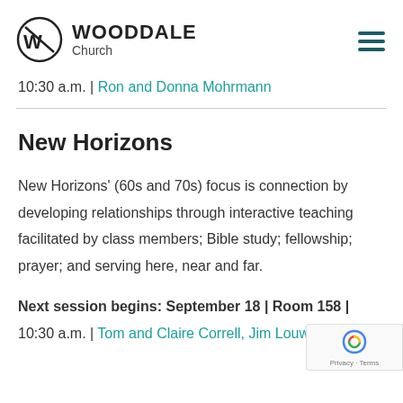WOODDALE Church
10:30 a.m. | Ron and Donna Mohrmann
New Horizons
New Horizons' (60s and 70s) focus is connection by developing relationships through interactive teaching facilitated by class members; Bible study; fellowship; prayer; and serving here, near and far.
Next session begins: September 18 | Room 158 | 10:30 a.m. | Tom and Claire Correll, Jim Louwsm